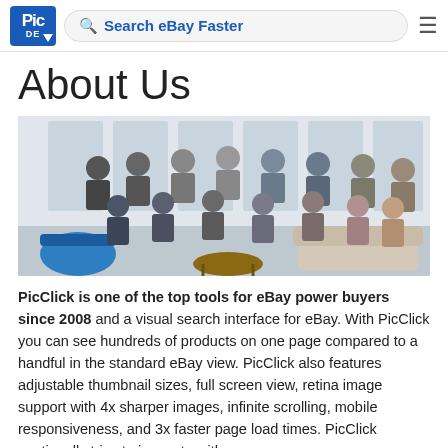Search eBay Faster
About Us
[Figure (photo): Group photo of PicClick team members posing together in an open office space, smiling and waving at the camera.]
PicClick is one of the top tools for eBay power buyers since 2008 and a visual search interface for eBay. With PicClick you can see hundreds of products on one page compared to a handful in the standard eBay view. PicClick also features adjustable thumbnail sizes, full screen view, retina image support with 4x sharper images, infinite scrolling, mobile responsiveness, and 3x faster page load times. PicClick continually tries to innovate with